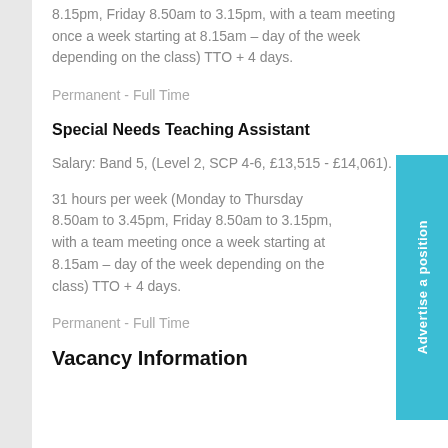8.15pm, Friday 8.50am to 3.15pm, with a team meeting once a week starting at 8.15am – day of the week depending on the class) TTO + 4 days.
Permanent - Full Time
Special Needs Teaching Assistant
Salary: Band 5, (Level 2, SCP 4-6, £13,515 - £14,061).
31 hours per week (Monday to Thursday 8.50am to 3.45pm, Friday 8.50am to 3.15pm, with a team meeting once a week starting at 8.15am – day of the week depending on the class) TTO + 4 days.
Permanent - Full Time
Vacancy Information